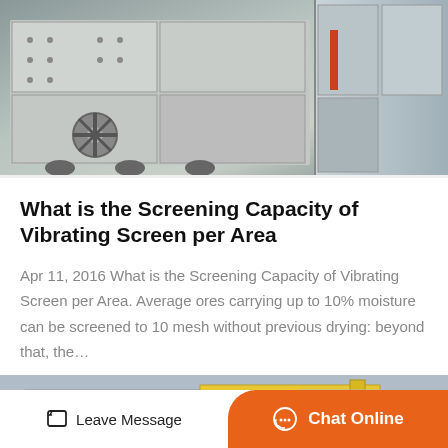[Figure (photo): Close-up photo of industrial vibrating screen machinery with white metal panels and fan/gear components visible]
What is the Screening Capacity of Vibrating Screen per Area
Apr 11, 2016 What is the Screening Capacity of Vibrating Screen per Area. Average ores carrying up to 10% moisture can be screened to 10 mesh without previous drying: beyond that, the…
[Figure (photo): Interior photo of an industrial warehouse or factory with overhead crane (yellow beam) and ventilation pipes along ceiling, adjacent to a white building exterior with windows]